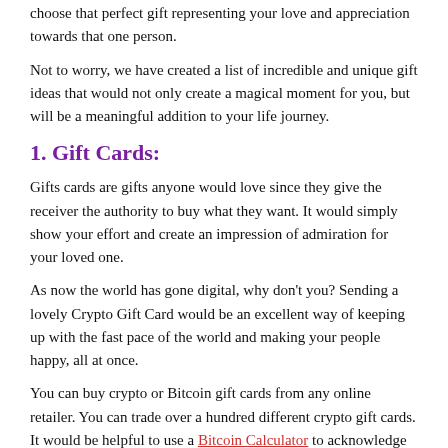choose that perfect gift representing your love and appreciation towards that one person.
Not to worry, we have created a list of incredible and unique gift ideas that would not only create a magical moment for you, but will be a meaningful addition to your life journey.
1.  Gift Cards:
Gifts cards are gifts anyone would love since they give the receiver the authority to buy what they want. It would simply show your effort and create an impression of admiration for your loved one.
As now the world has gone digital, why don't you? Sending a lovely Crypto Gift Card would be an excellent way of keeping up with the fast pace of the world and making your people happy, all at once.
You can buy crypto or Bitcoin gift cards from any online retailer. You can trade over a hundred different crypto gift cards. It would be helpful to use a Bitcoin Calculator to acknowledge your funds and Bitcoin value. It's as easy as sending a physical gift card to